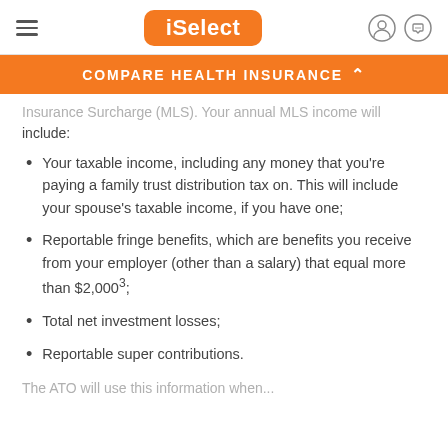iSelect — COMPARE HEALTH INSURANCE
Insurance Surcharge (MLS). Your annual MLS income will include:
Your taxable income, including any money that you're paying a family trust distribution tax on. This will include your spouse's taxable income, if you have one;
Reportable fringe benefits, which are benefits you receive from your employer (other than a salary) that equal more than $2,000³;
Total net investment losses;
Reportable super contributions.
The ATO will use this information when...